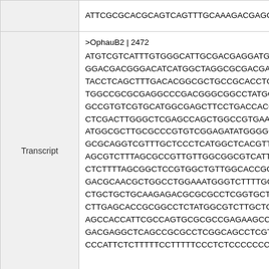|  | ATTCGCGCACGCAGTCAGTTTGCAAAGACGAGGG... |
| Transcript | >OphauB2|2472
ATGTCGTCATTTGTGGGCATTGCGACGAGGATGC...
GGACGACGGGACATCATGGCTAGGCGCGACGACG...
TACCTCAGCTTTGACACGGCGCTGCCGCACCTGC...
TGGCCGCGCGAGGCCCGACGGGCGGCCTATGCCT...
GCCGTGTCGTGCATGGCGAGCTTCCTGACCACGT...
CTCGACTTGGGCTCGAGCCAGCTGGCCGTGAATG...
ATGGCGCTTGCGCCCGTGTCGGAGATATGGGGCC...
GCGCAGGTCGTTTGCTCCCTCATGGCTCACGTTG...
AGCGTCTTTAGCGCCGTTGTTGGCGGCGTCATTG...
CTCTTTAGCGGCTCCGTGGCTGTTGGCACCGGCG...
GACGCAACGCTGGCCTGGAAATGGGTCTTTTGGC...
CTGCTGCTGCAAGAGACGCGCGCCTCGGTGCTGC...
CTTGAGCACCGCGGCCTCTATGGCGTCTTGCTGC...
AGCCACCATTCGCCAGTGCGCGCCGAGAAGCCGC...
GACGAGGCTCAGCCGCGCCTCGGCAGCCTCGTGG...
CCCATTCTCTTTTCCTTTTCCCTCTCCCCCCCCCT... |